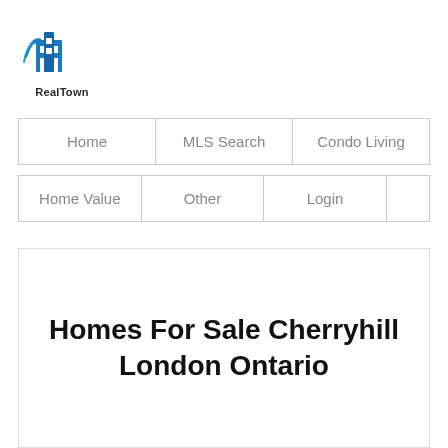[Figure (logo): RealTown logo with blue building icon and text 'RealTown' below]
Home | MLS Search | Condo Living | Home Value | Other | Login
Homes For Sale Cherryhill London Ontario